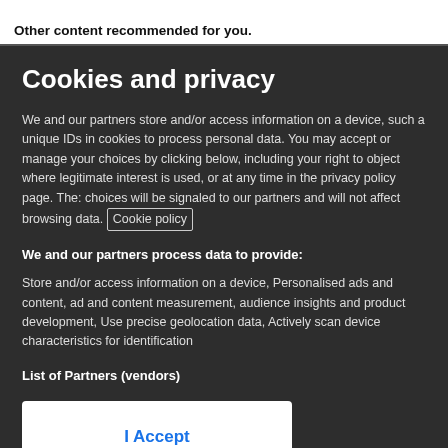Other content recommended for you.
Cookies and privacy
We and our partners store and/or access information on a device, such a unique IDs in cookies to process personal data. You may accept or manage your choices by clicking below, including your right to object where legitimate interest is used, or at any time in the privacy policy page. These choices will be signaled to our partners and will not affect browsing data. Cookie policy
We and our partners process data to provide:
Store and/or access information on a device, Personalised ads and content, ad and content measurement, audience insights and product development, Use precise geolocation data, Actively scan device characteristics for identification
List of Partners (vendors)
I Accept